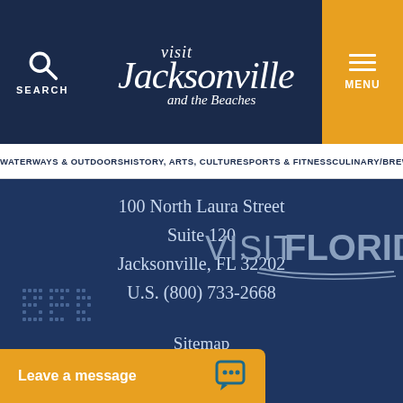[Figure (logo): Visit Jacksonville and the Beaches logo in white script on dark navy header]
WATERWAYS & OUTDOORS   HISTORY, ARTS, CULTURE   SPORTS & FITNESS   CULINARY/BREWERIES
100 North Laura Street
Suite 120
Jacksonville, FL 32202
U.S. (800) 733-2668
Sitemap
[Figure (logo): VISIT FLORIDA logo in light gray text]
[Figure (logo): Small dotted/pixelated logo in bottom left]
Leave a message